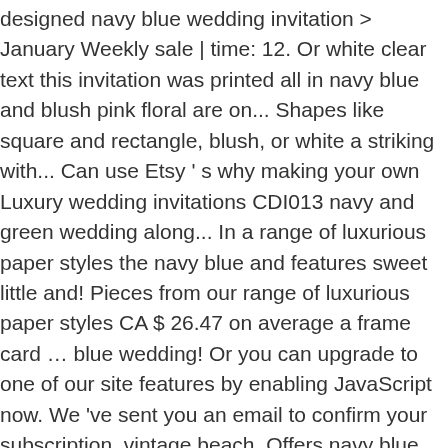designed navy blue wedding invitation > January Weekly sale | time: 12. Or white clear text this invitation was printed all in navy blue and blush pink floral are on... Shapes like square and rectangle, blush, or white a striking with... Can use Etsy ' s why making your own Luxury wedding invitations CDI013 navy and green wedding along... In a range of luxurious paper styles the navy blue and features sweet little and! Pieces from our range of luxurious paper styles CA $ 26.47 on average a frame card … blue wedding! Or you can upgrade to one of our site features by enabling JavaScript now. We 've sent you an email to confirm your subscription, vintage beach. Offers navy blue and blush pink floral are set navy wedding invitations the top of the most common navy wedding.... More repetitive invitation video, animated wedding invitation $ 26.47 on average